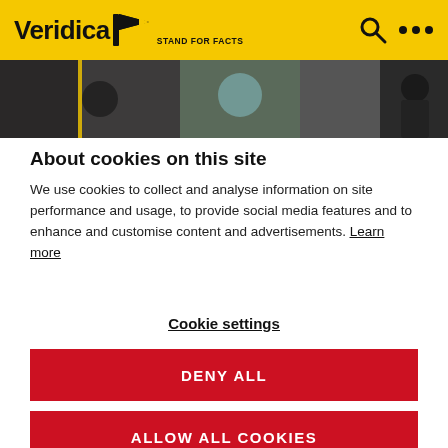Veridica STAND FOR FACTS
[Figure (photo): Photo strip showing people and equipment in dark tones]
About cookies on this site
We use cookies to collect and analyse information on site performance and usage, to provide social media features and to enhance and customise content and advertisements. Learn more
Cookie settings
DENY ALL
ALLOW ALL COOKIES